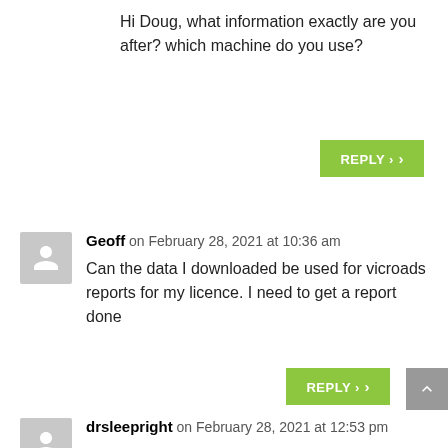Hi Doug, what information exactly are you after? which machine do you use?
REPLY
Geoff on February 28, 2021 at 10:36 am
Can the data I downloaded be used for vicroads reports for my licence. I need to get a report done
REPLY
drsleepright on February 28, 2021 at 12:53 pm